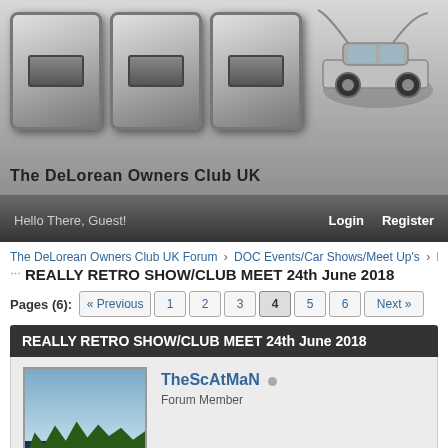[Figure (logo): DeLorean Owners Club UK logo with large DOC letters and DeLorean car illustration, metallic gradient banner]
Hello There, Guest!  Login  Register
The DeLorean Owners Club UK Forum › DOC Events/Car Shows/Meet Up's › DOC
REALLY RETRO SHOW/CLUB MEET 24th June 2018
Pages (6): « Previous  1  2  3  4  5  6  Next »
REALLY RETRO SHOW/CLUB MEET 24th June 2018
TheScAtMaN  Forum Member
26 Feb 2018, 18:37
Guinney1971 Wrote: